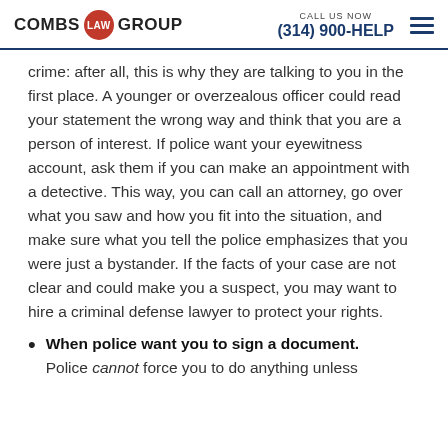COMBS LAW GROUP | CALL US NOW (314) 900-HELP
crime: after all, this is why they are talking to you in the first place. A younger or overzealous officer could read your statement the wrong way and think that you are a person of interest. If police want your eyewitness account, ask them if you can make an appointment with a detective. This way, you can call an attorney, go over what you saw and how you fit into the situation, and make sure what you tell the police emphasizes that you were just a bystander. If the facts of your case are not clear and could make you a suspect, you may want to hire a criminal defense lawyer to protect your rights.
When police want you to sign a document. Police cannot force you to do anything unless